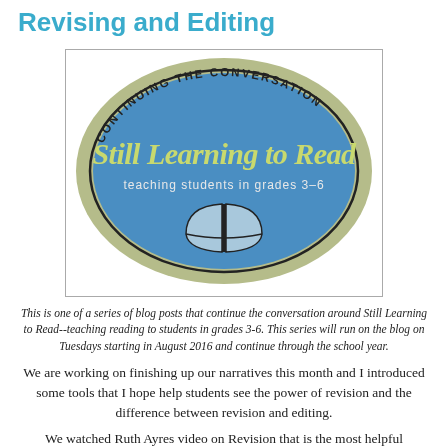Revising and Editing
[Figure (logo): Oval logo for 'Still Learning to Read' blog. Outer ring is sage/olive green with text 'CONTINUING THE CONVERSATION' arched along the top. Inner oval is blue with text 'Still Learning to Read' in large teal/green script font and subtitle 'teaching students in grades 3-6'. A black outline open book with blue pages is at the bottom center.]
This is one of a series of blog posts that continue the conversation around Still Learning to Read--teaching reading to students in grades 3-6.  This series will run on the blog on Tuesdays starting in August 2016 and continue through the school year.
We are working on finishing up our narratives this month and I introduced some tools that I hope help students see the power of revision and the difference between revision and editing.
We watched Ruth Ayres video on Revision that is the most helpful